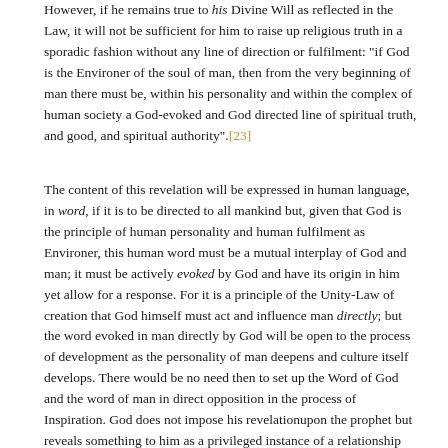However, if he remains true to his Divine Will as reflected in the Law, it will not be sufficient for him to raise up religious truth in a sporadic fashion without any line of direction or fulfilment: "if God is the Environer of the soul of man, then from the very beginning of man there must be, within his personality and within the complex of human society a God-evoked and God directed line of spiritual truth, and good, and spiritual authority".[23]
The content of this revelation will be expressed in human language, in word, if it is to be directed to all mankind but, given that God is the principle of human personality and human fulfilment as Environer, this human word must be a mutual interplay of God and man; it must be actively evoked by God and have its origin in him yet allow for a response. For it is a principle of the Unity-Law of creation that God himself must act and influence man directly; but the word evoked in man directly by God will be open to the process of development as the personality of man deepens and culture itself develops. There would be no need then to set up the Word of God and the word of man in direct opposition in the process of Inspiration. God does not impose his revelationupon the prophet but reveals something to him as a privileged instance of a relationship that already exists with God as Environer.